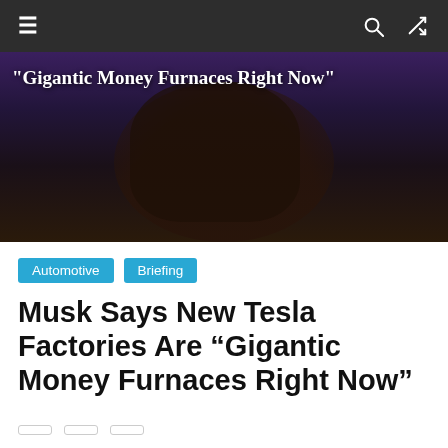Navigation bar with hamburger menu, search and shuffle icons
[Figure (photo): Dark background hero image showing a person in dark clothing, with overlaid bold white text: "Gigantic Money Furnaces Right Now"]
Automotive   Briefing
Musk Says New Tesla Factories Are “Gigantic Money Furnaces Right Now”
June 23, 2022 2:54 PM   ER Velasco   0 Comments   Elon Musk, Tesla